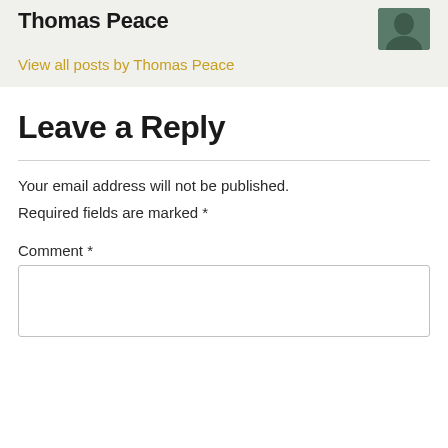Thomas Peace
View all posts by Thomas Peace
Leave a Reply
Your email address will not be published. Required fields are marked *
Comment *